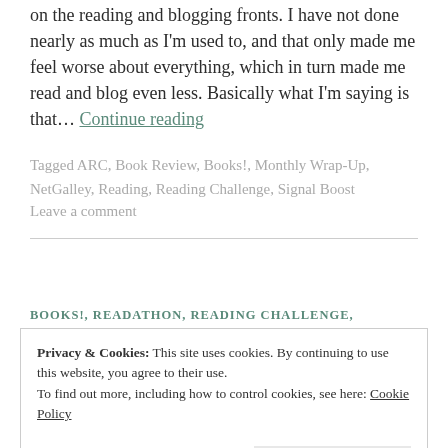on the reading and blogging fronts. I have not done nearly as much as I'm used to, and that only made me feel worse about everything, which in turn made me read and blog even less. Basically what I'm saying is that… Continue reading
Tagged ARC, Book Review, Books!, Monthly Wrap-Up, NetGalley, Reading, Reading Challenge, Signal Boost
Leave a comment
BOOKS!, READATHON, READING CHALLENGE,
Privacy & Cookies: This site uses cookies. By continuing to use this website, you agree to their use. To find out more, including how to control cookies, see here: Cookie Policy
Close and accept
Hey all, Dani here. Hello. Happy Sunday to you. It's my